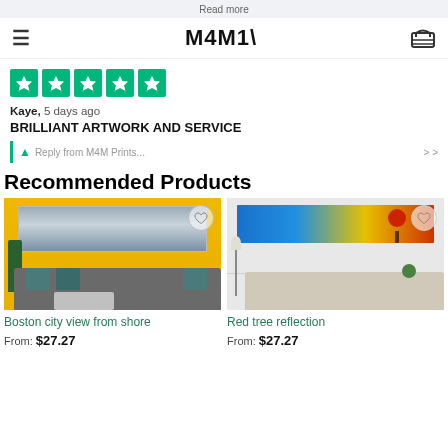Read more
[Figure (logo): MANY logo in bold black text, hamburger menu icon on left, shopping bag icon on right]
[Figure (infographic): Five green Trustpilot star rating boxes with white stars]
Kaye, 5 days ago
BRILLIANT ARTWORK AND SERVICE
Reply from MYM Prints...
Recommended Products
[Figure (photo): Boston city view from shore artwork displayed on yellow wall above grey sofa with blue patterned pillows]
Boston city view from shore
From: $27.27
[Figure (photo): Red tree reflection artwork displayed on wall above cream sofa with floor lamp]
Red tree reflection
From: $27.27